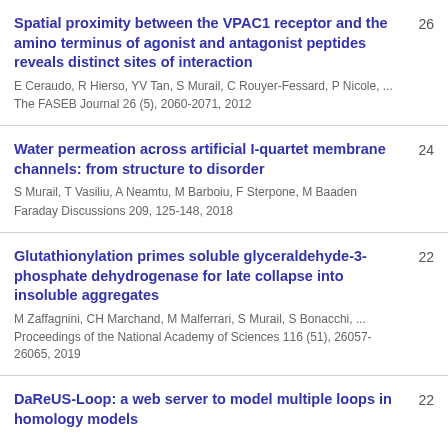Spatial proximity between the VPAC1 receptor and the amino terminus of agonist and antagonist peptides reveals distinct sites of interaction
E Ceraudo, R Hierso, YV Tan, S Murail, C Rouyer-Fessard, P Nicole, ...
The FASEB Journal 26 (5), 2060-2071, 2012
26
Water permeation across artificial I-quartet membrane channels: from structure to disorder
S Murail, T Vasiliu, A Neamtu, M Barboiu, F Sterpone, M Baaden
Faraday Discussions 209, 125-148, 2018
24
Glutathionylation primes soluble glyceraldehyde-3-phosphate dehydrogenase for late collapse into insoluble aggregates
M Zaffagnini, CH Marchand, M Malferrari, S Murail, S Bonacchi, ...
Proceedings of the National Academy of Sciences 116 (51), 26057-26065, 2019
22
DaReUS-Loop: a web server to model multiple loops in homology models
22